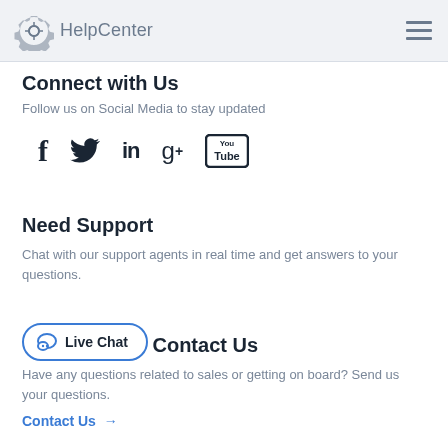HelpCenter
Connect with Us
Follow us on Social Media to stay updated
[Figure (infographic): Social media icons: Facebook (f), Twitter (bird), LinkedIn (in), Google+ (g+), YouTube (You Tube)]
Need Support
Chat with our support agents in real time and get answers to your questions.
Live Chat
Contact Us
Have any questions related to sales or getting on board? Send us your questions.
Contact Us →